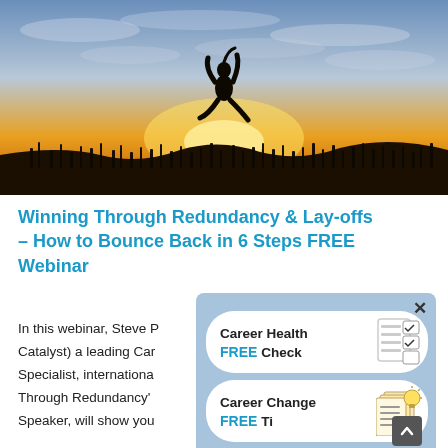[Figure (photo): Silhouette of a person jumping joyfully against a dramatic sunset sky with golden and orange hues, tall grass in foreground]
Winning Through Redundancy & Lay-offs – How to Bounce Back in 6 Steps FREE Webinar
In this webinar, Steve P (Career Catalyst) a leading Career Specialist, internationally known, 'Through Redundancy' Speaker, will show you
[Figure (infographic): Popup overlay with light blue background showing two items: 'Career Health FREE Check' with checklist icon, and 'Career Change FREE Tips' with lightbulb/book icon. Has a close (X) button in top right corner and a dark scroll-up arrow badge.]